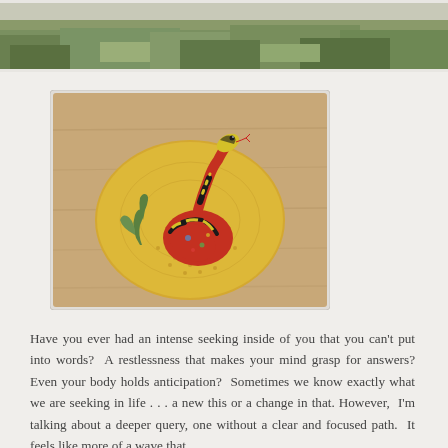[Figure (photo): Top portion of an outdoor photo showing green grass/ground, partially cropped at the top of the page]
[Figure (photo): A ceramic or clay sculpture of a colorful snake (red, black, yellow) coiled on a round golden disc with small holes, placed on a wooden surface. Small green plant sprigs also on the disc.]
Have you ever had an intense seeking inside of you that you can't put into words?  A restlessness that makes your mind grasp for answers? Even your body holds anticipation?  Sometimes we know exactly what we are seeking in life . . . a new this or a change in that. However,  I'm talking about a deeper query, one without a clear and focused path.  It feels like more of a wave that...